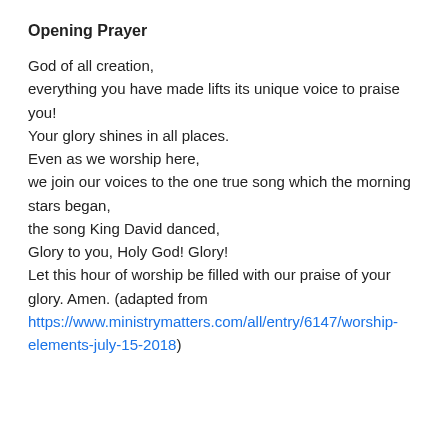Opening Prayer
God of all creation,
everything you have made lifts its unique voice to praise you!
Your glory shines in all places.
Even as we worship here,
we join our voices to the one true song which the morning stars began,
the song King David danced,
Glory to you, Holy God! Glory!
Let this hour of worship be filled with our praise of your glory. Amen. (adapted from https://www.ministrymatters.com/all/entry/6147/worship-elements-july-15-2018)